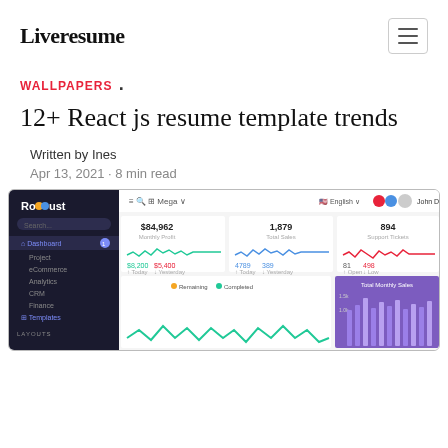Liveresume
WALLPAPERS .
12+ React js resume template trends
Written by Ines
Apr 13, 2021 · 8 min read
[Figure (screenshot): Screenshot of a web dashboard application called Rooust showing analytics metrics including $84,962 Monthly Profit, 1,879 Total Sales, 894 Support Tickets, with navigation sidebar and charts including line charts and a purple bar chart for Total Monthly Sales.]